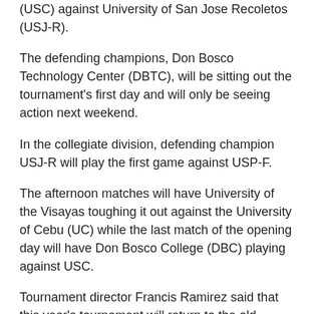(USC) against University of San Jose Recoletos (USJ-R).
The defending champions, Don Bosco Technology Center (DBTC), will be sitting out the tournament's first day and will only be seeing action next weekend.
In the collegiate division, defending champion USJ-R will play the first game against USP-F.
The afternoon matches will have University of the Visayas toughing it out against the University of Cebu (UC) while the last match of the opening day will have Don Bosco College (DBC) playing against USC.
Tournament director Francis Ramirez said that this year's tournament will return to the old format of single round-robin after some teams complained of the lengthy period that it took to finish the